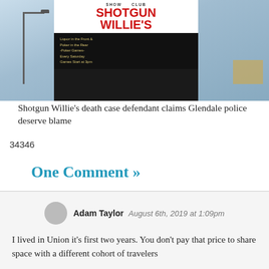[Figure (photo): Outdoor sign for Shotgun Willie's show club against a blue sky background, with a street lamp visible. The sign has white background with red lettering 'SHOTGUN WILLIE'S' and a black marquee section with text about poker games every Saturday.]
Shotgun Willie's death case defendant claims Glendale police deserve blame
34346
One Comment »
Adam Taylor  August 6th, 2019 at 1:09pm
I lived in Union it's first two years. You don't pay that price to share space with a different cohort of travelers